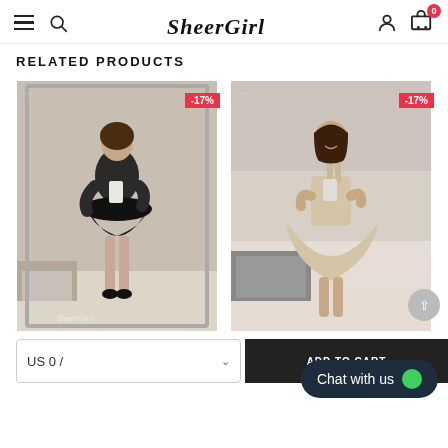SheerGirl navigation header with hamburger menu, search icon, logo, user icon, and cart (0)
RELATED PRODUCTS
[Figure (photo): Young woman wearing a black off-shoulder short dress, taking a mirror selfie. Discount badge: -17%]
[Figure (photo): Young woman wearing a beige/champagne one-shoulder pleated dress, taking a mirror selfie. Discount badge: -17%]
US 0 /
ADD TO CART
Chat with us